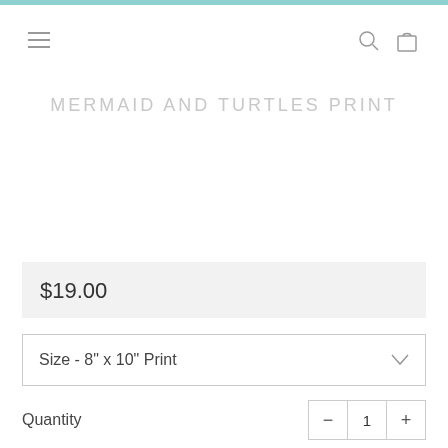Navigation bar with hamburger menu, search icon, and bag icon
MERMAID AND TURTLES PRINT
$19.00
Size  -  8" x 10" Print
Quantity  1